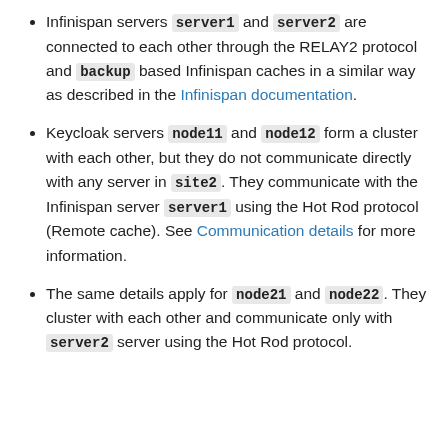Infinispan servers server1 and server2 are connected to each other through the RELAY2 protocol and backup based Infinispan caches in a similar way as described in the Infinispan documentation.
Keycloak servers node11 and node12 form a cluster with each other, but they do not communicate directly with any server in site2. They communicate with the Infinispan server server1 using the Hot Rod protocol (Remote cache). See Communication details for more information.
The same details apply for node21 and node22. They cluster with each other and communicate only with server2 server using the Hot Rod protocol.